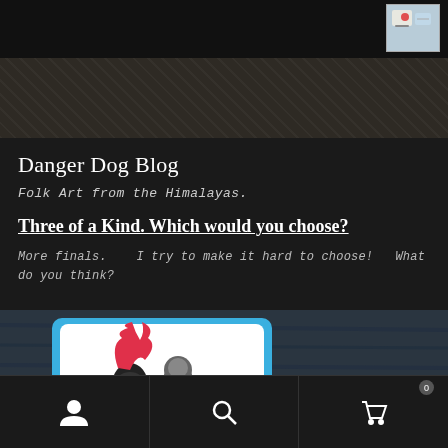[Figure (photo): Top navigation bar with a small thumbnail image in the top right corner showing a colorful folk art piece]
[Figure (photo): Dark herringbone-patterned header band with a grey search/input bar in the center]
Danger Dog Blog
Folk Art from the Himalayas.
Three of a Kind. Which would you choose?
More finals.   I try to make it hard to choose!   What do you think?
[Figure (photo): Close-up photo of a folk art card with blue border showing stylized figures with red flame-like hair on a dark wooden background]
Navigation bar with user icon, search icon, and cart icon with badge showing 0